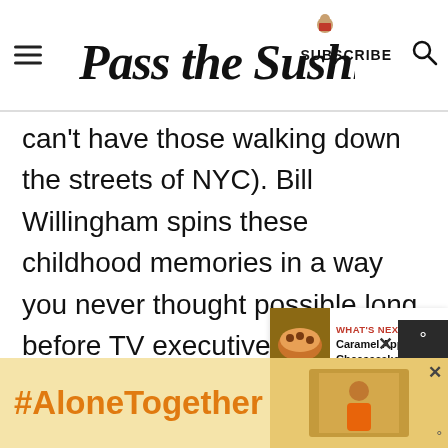Pass the Sushi — SUBSCRIBE
can't have those walking down the streets of NYC). Bill Willingham spins these childhood memories in a way you never thought possible long before TV executives had the idea, along with stunning covers from James Jean, and a majority of beautiful internal art by Mark Buckingham. Snow white is a
[Figure (other): What's Next widget showing Caramel Apple Cheesecake...]
#AloneTogether